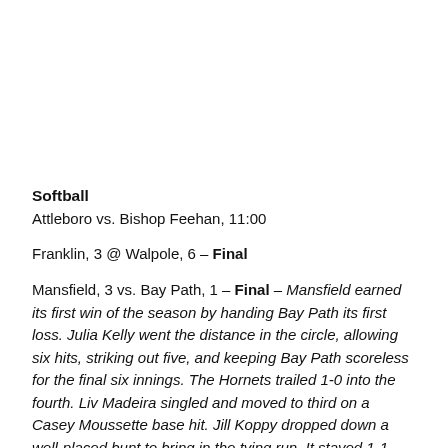Softball
Attleboro vs. Bishop Feehan, 11:00
Franklin, 3 @ Walpole, 6 – Final
Mansfield, 3 vs. Bay Path, 1 – Final – Mansfield earned its first win of the season by handing Bay Path its first loss. Julia Kelly went the distance in the circle, allowing six hits, striking out five, and keeping Bay Path scoreless for the final six innings. The Hornets trailed 1-0 into the fourth. Liv Madeira singled and moved to third on a Casey Moussette base hit. Jill Koppy dropped down a well-placed bunt to bring in the tying run. It stayed 1-1 into the…